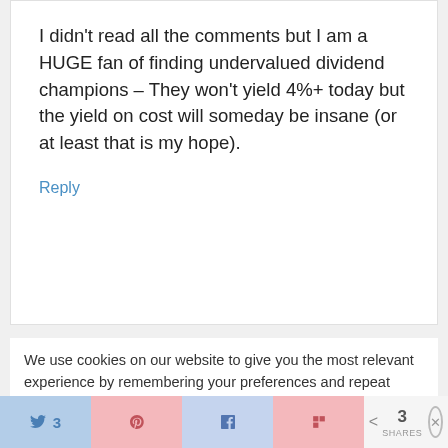I didn't read all the comments but I am a HUGE fan of finding undervalued dividend champions – They won't yield 4%+ today but the yield on cost will someday be insane (or at least that is my hope).
Reply
We use cookies on our website to give you the most relevant experience by remembering your preferences and repeat visits. By clicking "Accept All", you consent to the use of ALL the cookies. However, you may visit "Cookie Settings" to provide a controlled consent.
3 SHARES